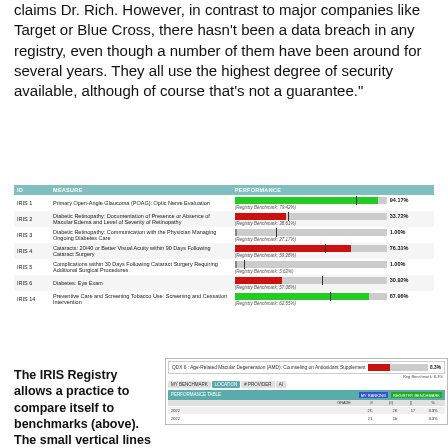claims Dr. Rich. However, in contrast to major companies like Target or Blue Cross, there hasn't been a data breach in any registry, even though a number of them have been around for several years. They all use the highest degree of security available, although of course that's not a guarantee."
[Figure (bar-chart): IRIS Registry Performance Measures Table]
The IRIS Registry allows a practice to compare itself to benchmarks (above). The small vertical lines
[Figure (screenshot): IRIS Registry screenshot showing QDX 6: Age-Related Macular Degeneration (AMD): Counseling on Antioxidant Supplement performance bar (red fill ~8%), benchmark line, tabs (MY BENCHMARK, LOCATION, # PROVIDER, AI), and a PERFORMANCE TABLE with columns ID, MY RANKING, REGISTRY BENCHMARK showing data rows for 2022 and 2022.]